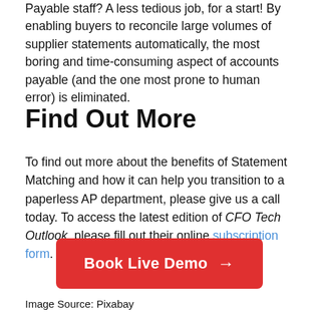Payable staff? A less tedious job, for a start! By enabling buyers to reconcile large volumes of supplier statements automatically, the most boring and time-consuming aspect of accounts payable (and the one most prone to human error) is eliminated.
Find Out More
To find out more about the benefits of Statement Matching and how it can help you transition to a paperless AP department, please give us a call today. To access the latest edition of CFO Tech Outlook, please fill out their online subscription form.
[Figure (other): Red call-to-action button with white text 'Book Live Demo' and a right arrow]
Image Source: Pixabay